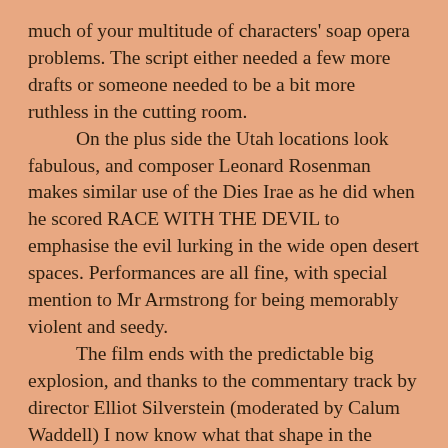much of your multitude of characters' soap opera problems. The script either needed a few more drafts or someone needed to be a bit more ruthless in the cutting room.

On the plus side the Utah locations look fabulous, and composer Leonard Rosenman makes similar use of the Dies Irae as he did when he scored RACE WITH THE DEVIL to emphasise the evil lurking in the wide open desert spaces. Performances are all fine, with special mention to Mr Armstrong for being memorably violent and seedy.

The film ends with the predictable big explosion, and thanks to the commentary track by director Elliot Silverstein (moderated by Calum Waddell) I now know what that shape in the flames is actually meant to be. I'll leave you to find what he says for yourselves.

As mentioned above, I've only ever seen THE CAR panned and scanned on TV, so Arrow's Blu-ray 2.35:1 widescreen transfer is the revelation it could not help but